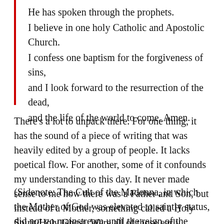He has spoken through the prophets. I believe in one holy Catholic and Apostolic Church. I confess one baptism for the forgiveness of sins, and I look forward to the resurrection of the dead, and the life of the world to come. Amen.
There's a lot to unpack there. For one thing, it has the sound of a piece of writing that was heavily edited by a group of people. It lacks poetical flow. For another, some of it confounds my understanding to this day. It never made sense to me how there was a Father and Son, but instead of a Mother, something called a Holy Spirit/Holy Ghost. Were all of those early Church Fathers ignorant of how babies were born?
(Sidenote: The Cult of the Madonna, in which the Mother of God was elevated to saintly status, did not go mainstream until the reign of the Emperor Arcadius 75